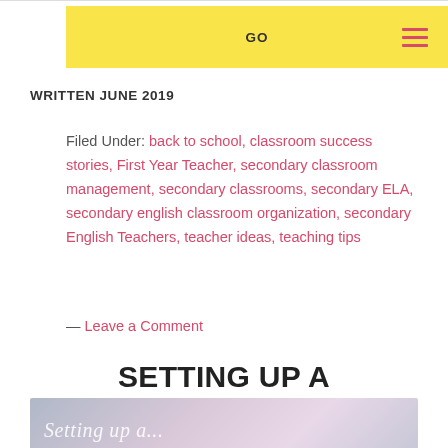GO
WRITTEN JUNE 2019
Filed Under: back to school, classroom success stories, First Year Teacher, secondary classroom management, secondary classrooms, secondary ELA, secondary english classroom organization, secondary English Teachers, teacher ideas, teaching tips
— Leave a Comment
SETTING UP A CLASSROOM BOOK CLUB MEETING
[Figure (photo): Partial view of a blog post header image with a purple/grey gradient background and cursive white text partially visible at the bottom]